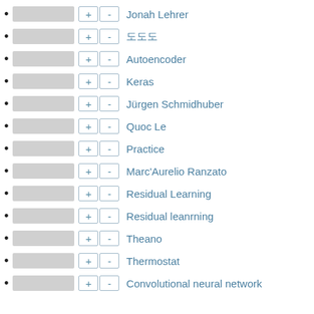Jonah Lehrer
도도도
Autoencoder
Keras
Jürgen Schmidhuber
Quoc Le
Practice
Marc'Aurelio Ranzato
Residual Learning
Residual leanrning
Theano
Thermostat
Convolutional neural network